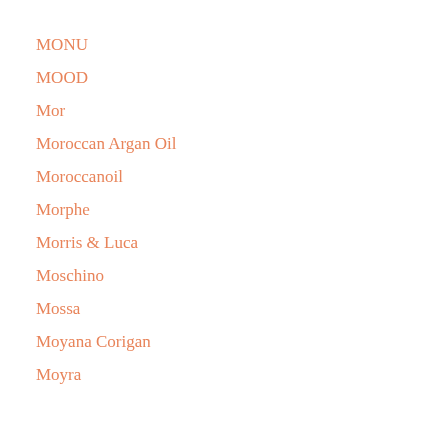MONU
MOOD
Mor
Moroccan Argan Oil
Moroccanoil
Morphe
Morris & Luca
Moschino
Mossa
Moyana Corigan
Moyra